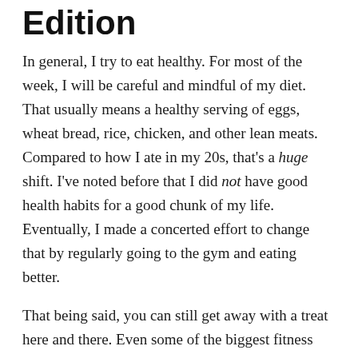Edition
In general, I try to eat healthy. For most of the week, I will be careful and mindful of my diet. That usually means a healthy serving of eggs, wheat bread, rice, chicken, and other lean meats. Compared to how I ate in my 20s, that's a huge shift. I've noted before that I did not have good health habits for a good chunk of my life. Eventually, I made a concerted effort to change that by regularly going to the gym and eating better.
That being said, you can still get away with a treat here and there. Even some of the biggest fitness junkies in the world have what they call a cheat day. The Rock particularly is legendary for his cheat days. Now, it is possible to overdo it. I know because I have overdone it and paid the price. However, there is one special kind of diet that will...